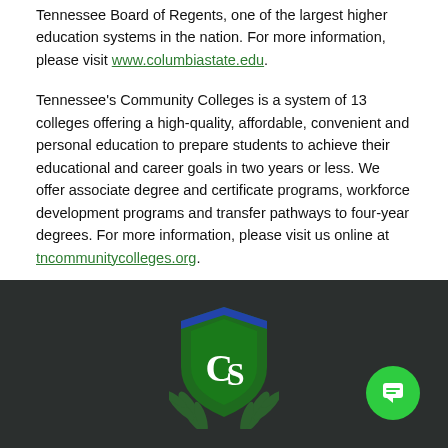Tennessee Board of Regents, one of the largest higher education systems in the nation. For more information, please visit www.columbiastate.edu.
Tennessee's Community Colleges is a system of 13 colleges offering a high-quality, affordable, convenient and personal education to prepare students to achieve their educational and career goals in two years or less. We offer associate degree and certificate programs, workforce development programs and transfer pathways to four-year degrees. For more information, please visit us online at tncommunitycolleges.org.
[Figure (logo): Columbia State Community College shield logo with green background, white CS letters, blue arc at top, and decorative green feather/leaf wings on dark background. A green circular chat button is in the bottom right.]